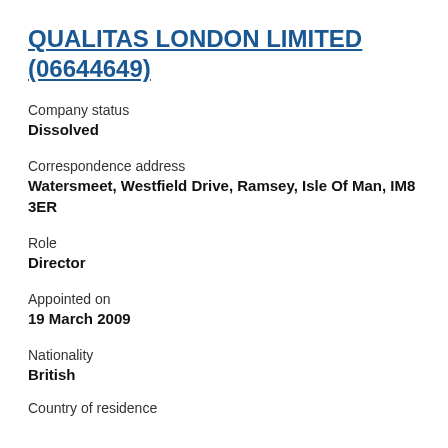QUALITAS LONDON LIMITED (06644649)
Company status
Dissolved
Correspondence address
Watersmeet, Westfield Drive, Ramsey, Isle Of Man, IM8 3ER
Role
Director
Appointed on
19 March 2009
Nationality
British
Country of residence